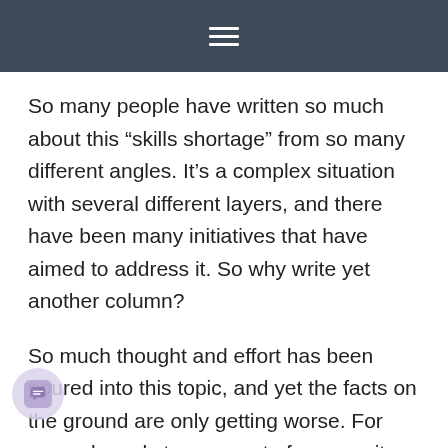☰
So many people have written so much about this “skills shortage” from so many different angles. It’s a complex situation with several different layers, and there have been many initiatives that have aimed to address it. So why write yet another column?
So much thought and effort has been poured into this topic, and yet the facts on the ground are only getting worse. For example, only ten percent of er-security professionals are women, a massive loss of unrealized potential and an